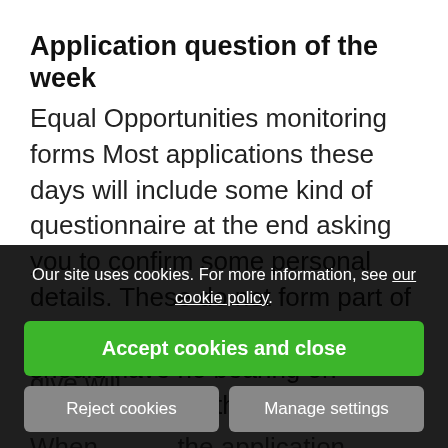Application question of the week
Equal Opportunities monitoring forms Most applications these days will include some kind of questionnaire at the end asking you to confirm some personal details. These do not form part of the application and your answers should have no bearing on whether you go through to however, that the answers you give will unfair When the application is reviewed by the business, this sheet is usually
Our site uses cookies. For more information, see our cookie policy. Accept cookies and close Reject cookies Manage settings